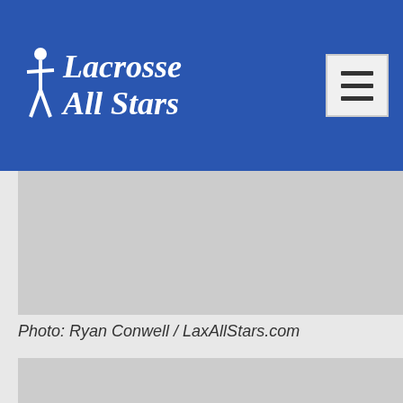Lacrosse All Stars
[Figure (photo): Gray placeholder image (first photo)]
Photo: Ryan Conwell / LaxAllStars.com
[Figure (photo): Gray placeholder image (second photo)]